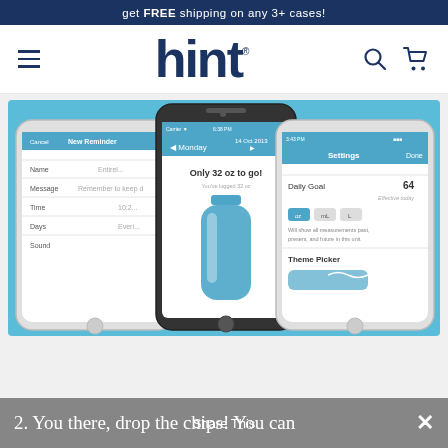get FREE shipping on any 3+ cases!
[Figure (logo): Hint water brand logo with hamburger menu, search icon, and cart icon navigation bar]
[Figure (screenshot): Three smartphones showing the Hint water app. Left phone: New Reminder screen with Name, Message, Time, Days, Sound fields. Center phone (black): Monday 14 Oct 2013, 'Only 32 oz to go!' with water bottle graphic. Right phone: Settings screen with Daily Goal 64, Theme Picker.]
2. You there, drop the chips! You can